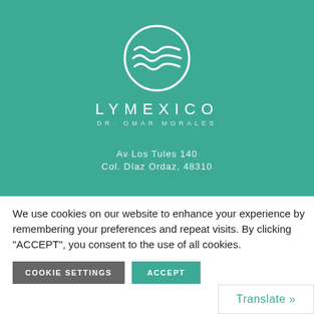[Figure (logo): Lymexico Dr. Omar Morales logo — circular wave design in white on teal background with brand name LYMEXICO and DR. OMAR MORALES below]
Av Los Tules 140
Col. Díaz Ordaz, 48310
We use cookies on our website to enhance your experience by remembering your preferences and repeat visits. By clicking "ACCEPT", you consent to the use of all cookies.